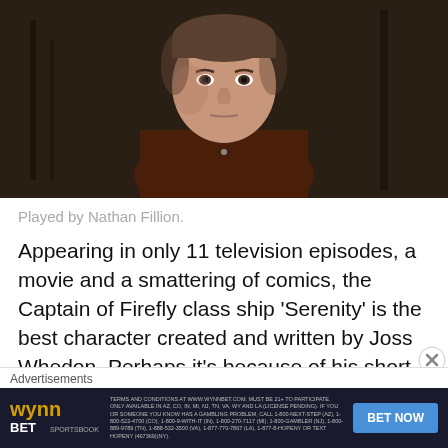[Figure (photo): A man with short dark hair wearing a brown button-up shirt, looking seriously at the camera. Background is dark and industrial.]
Played by Nathan Fillion.
Appearing in only 11 television episodes, a movie and a smattering of comics, the Captain of Firefly class ship 'Serenity' is the best character created and written by Joss Whedon. Perhaps it's because of his short time with us that prevented the character from over-staying his
Advertisements
[Figure (other): WynnBET Sportsbook advertisement banner with fine print and BET NOW button]